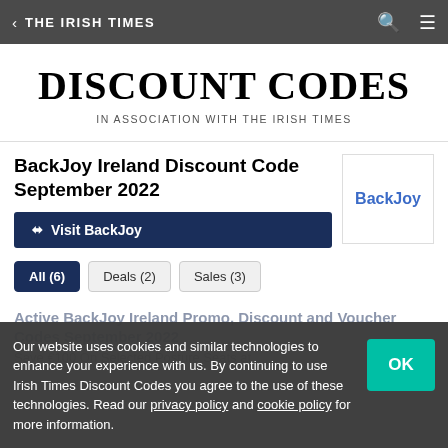< THE IRISH TIMES
DISCOUNT CODES
IN ASSOCIATION WITH THE IRISH TIMES
BackJoy Ireland Discount Code September 2022
Visit BackJoy
All (6)
Deals (2)
Sales (3)
Our website uses cookies and similar technologies to enhance your experience with us. By continuing to use Irish Times Discount Codes you agree to the use of these technologies. Read our privacy policy and cookie policy for more information.